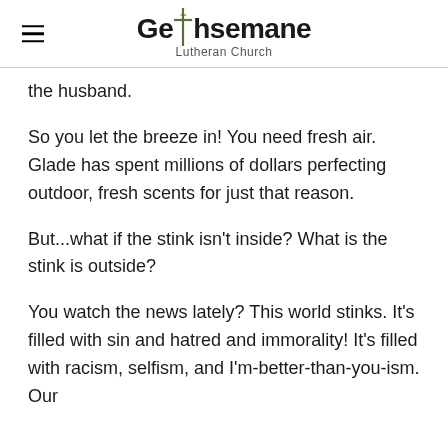Gethsemane Lutheran Church
the husband.
So you let the breeze in! You need fresh air. Glade has spent millions of dollars perfecting outdoor, fresh scents for just that reason.
But...what if the stink isn't inside? What is the stink is outside?
You watch the news lately? This world stinks. It's filled with sin and hatred and immorality! It's filled with racism, selfism, and I'm-better-than-you-ism. Our